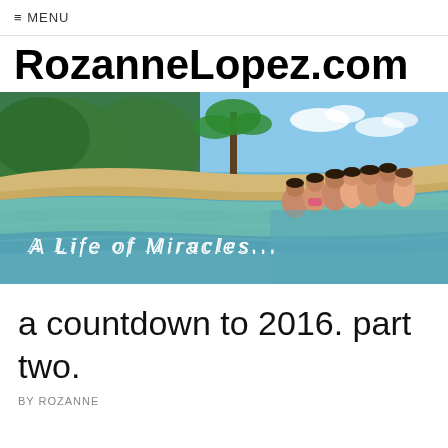≡ MENU
RozanneLopez.com
[Figure (photo): A beach scene with turquoise water, a sandy shore, palm trees, and a group of people (women/girls) standing in the shallow water. Text overlay reads 'A LIFE OF MIRACLES...' in white handwritten style lettering.]
a countdown to 2016. part two.
by ROZANNE